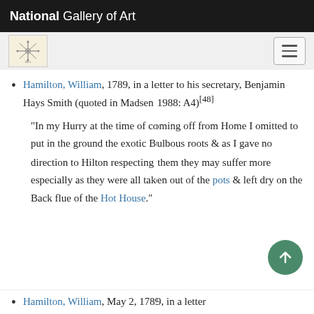National Gallery of Art
[Figure (logo): National Gallery of Art navigation bar with logo and hamburger menu]
Hamilton, William, 1789, in a letter to his secretary, Benjamin Hays Smith (quoted in Madsen 1988: A4)[48]
“In my Hurry at the time of coming off from Home I omitted to put in the ground the exotic Bulbous roots & as I gave no direction to Hilton respecting them they may suffer more especially as they were all taken out of the pots & left dry on the Back flue of the Hot House.”
Hamilton, William, May 2, 1789, in a letter